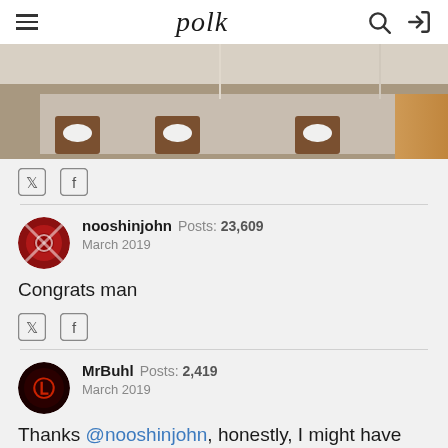polk
[Figure (photo): Partial view of a room with speakers on the floor against a wall, carpet visible]
social share icons (Twitter, Facebook)
nooshinjohn  Posts: 23,609  March 2019
Congrats man
social share icons (Twitter, Facebook)
MrBuhl  Posts: 2,419  March 2019
Thanks @nooshinjohn, honestly, I might have enough left over to grab those Maggies too if I push it and see which